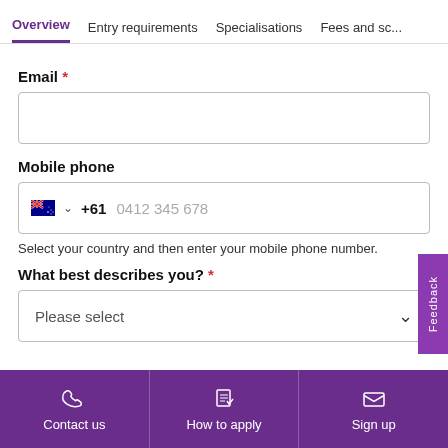Overview | Entry requirements | Specialisations | Fees and sc...
Email *
Mobile phone
+61  0412 345 678
Select your country and then enter your mobile phone number.
What best describes you? *
Please select
Contact us | How to apply | Sign up